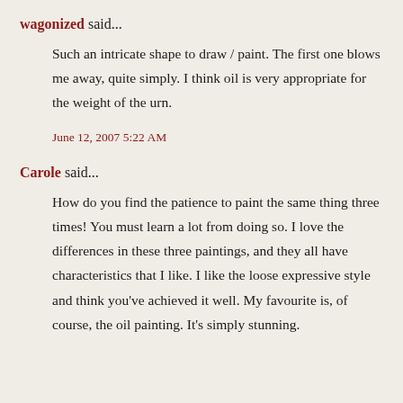wagonized said...
Such an intricate shape to draw / paint. The first one blows me away, quite simply. I think oil is very appropriate for the weight of the urn.
June 12, 2007 5:22 AM
Carole said...
How do you find the patience to paint the same thing three times! You must learn a lot from doing so. I love the differences in these three paintings, and they all have characteristics that I like. I like the loose expressive style and think you've achieved it well. My favourite is, of course, the oil painting. It's simply stunning.